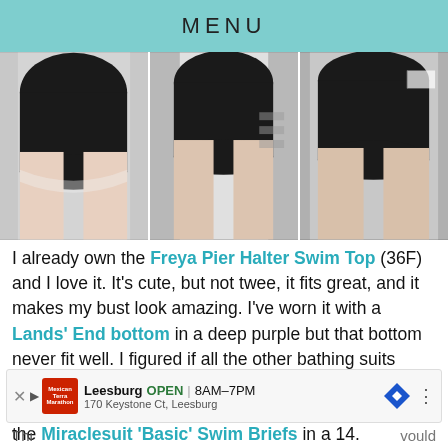MENU
[Figure (photo): Three side-by-side photos showing a person wearing a black swimsuit bottom, taken from behind/side in a fitting room mirror]
I already own the Freya Pier Halter Swim Top (36F) and I love it. It's cute, but not twee, it fits great, and it makes my bust look amazing. I've worn it with a Lands' End bottom in a deep purple but that bottom never fit well. I figured if all the other bathing suits didn't work at least I could rock this simple black bottom with the top I already own. I ordered the Miraclesuit ‘Basic’ Swim Briefs in a 14.
Leesburg OPEN 8AM–7PM 170 Keystone Ct, Leesburg